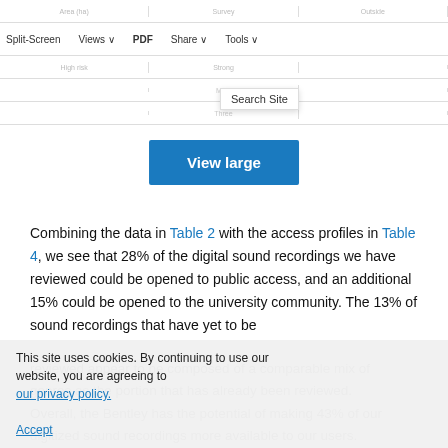[Figure (screenshot): Partial screenshot of a navigation toolbar with Split-Screen, Views, PDF, Share, Tools options and a Search Site dropdown, overlaid on a faded table]
[Figure (screenshot): Blue 'View large' button centered on the page]
Combining the data in Table 2 with the access profiles in Table 4, we see that 28% of the digital sound recordings we have reviewed could be opened to public access, and an additional 15% could be opened to the university community. The 13% of sound recordings that have yet to be reviewed appear to be composed of a comparable mix of genres as the portion that has already been reviewed. Overall, the Bentley has the potential of making 43% of our digitized sound recordings more available to our users.
This site uses cookies. By continuing to use our website, you are agreeing to our privacy policy. Accept